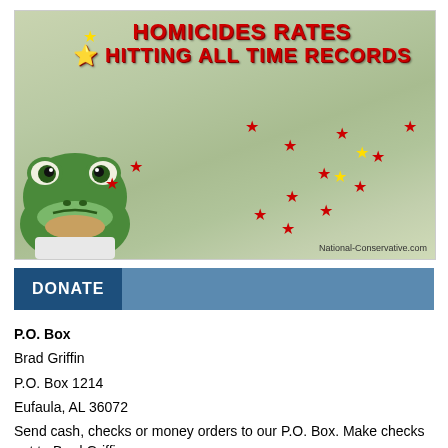[Figure (infographic): A map of the United States with red and yellow stars marking various cities, overlaid with the text 'HOMICIDES RATES HITTING ALL TIME RECORDS' in dripping red letters. A cartoon frog (Pepe) is in the lower left corner. Watermark reads 'National-Conservative.com'.]
DONATE
P.O. Box
Brad Griffin
P.O. Box 1214
Eufaula, AL 36072
Send cash, checks or money orders to our P.O. Box. Make checks out to Brad Griffin